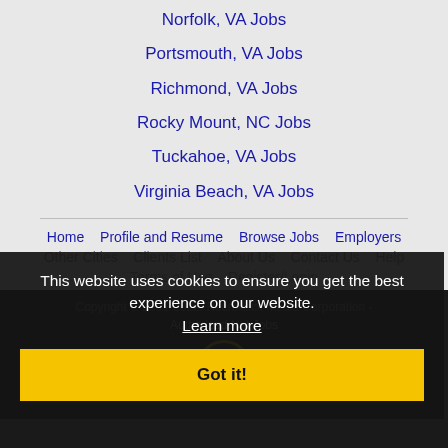Norfolk, VA Jobs
Portsmouth, VA Jobs
Richmond, VA Jobs
Rocky Mount, NC Jobs
Tuckahoe, VA Jobs
Virginia Beach, VA Jobs
Home  Profile and Resume  Browse Jobs  Employers  Other Cities  Clients List  About Us  Contact Us  Help  Terms of Use  Register/Login  Copyright 2001-2022 Recruiteck Media Corporation - Authorized Net Jobs
This website uses cookies to ensure you get the best experience on our website. Learn more
Got it!